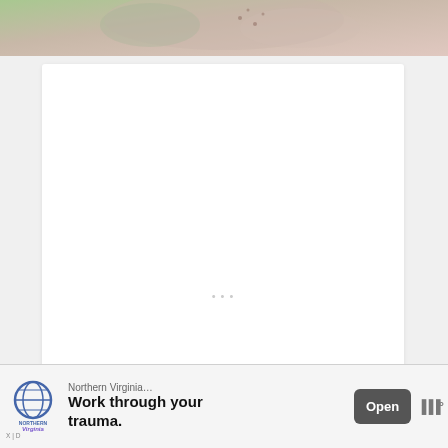[Figure (photo): Top portion of a photo showing people, cropped at top of page. Blurred background with soft colors.]
[Figure (screenshot): White content card area, mostly blank/loading. Green heart/like button with count 16, share button on right side. 'WHAT'S NEXT' banner with thumbnail and 'Childhood Emotional...' text.]
[Figure (photo): Advertisement banner at bottom: Northern Virginia logo, 'Work through your trauma.' text, Open button, and mute icon.]